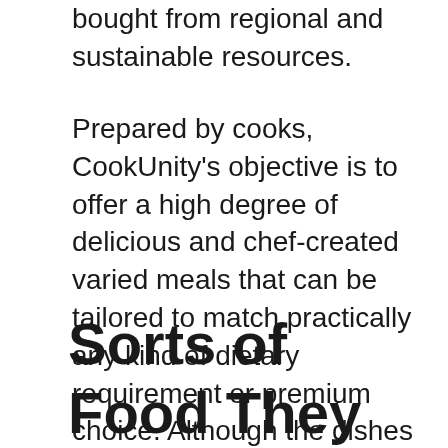bought from regional and sustainable resources.
Prepared by cooks, CookUnity's objective is to offer a high degree of delicious and chef-created varied meals that can be tailored to match practically any kind of dietary requirement or premium choice. Although the dishes provided are not personalized, the symbols at the top of the food selection web page help you in tailoring to your particular requirements by allowing you to pick from low sodium, vegan, paleo, as well as gluten-free options, to name a few examples of what is readily available.
Sorts of Food They